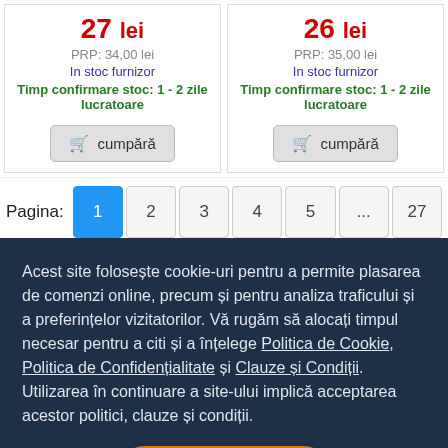27 lei / PRP: 34,00 lei / In stoc furnizor / Timp confirmare stoc: 1 - 2 zile lucratoare
cumpără
26 lei / PRP: 35,00 lei / In stoc furnizor / Timp confirmare stoc: 1 - 2 zile lucratoare
cumpără
Pagina: 1 2 3 4 5 ... 27
Acest site folosește cookie-uri pentru a permite plasarea de comenzi online, precum și pentru analiza traficului și a preferințelor vizitatorilor. Vă rugăm să alocați timpul necesar pentru a citi și a înțelege Politica de Cookie, Politica de Confidențialitate și Clauze și Condiții. Utilizarea în continuare a site-ului implică acceptarea acestor politici, clauze și condiții.
Sunt de acord